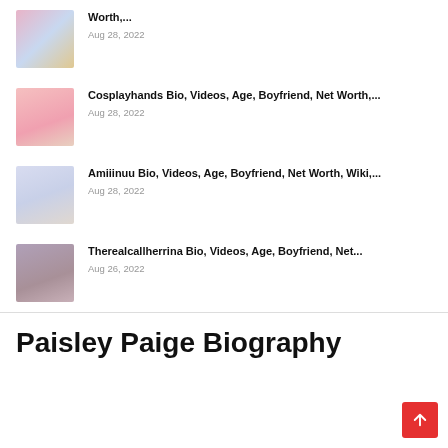[Figure (photo): Thumbnail image for first article - person in colorful outfit]
Worth,...
Aug 28, 2022
[Figure (photo): Thumbnail image for Cosplayhands article - woman with mask in pink outfit]
Cosplayhands Bio, Videos, Age, Boyfriend, Net Worth,...
Aug 28, 2022
[Figure (photo): Thumbnail image for Amiiinuu article - woman in light outfit]
Amiiinuu Bio, Videos, Age, Boyfriend, Net Worth, Wiki,...
Aug 28, 2022
[Figure (photo): Thumbnail image for Therealcallherrina article - woman with dark hair]
Therealcallherrina Bio, Videos, Age, Boyfriend, Net...
Aug 26, 2022
Paisley Paige Biography